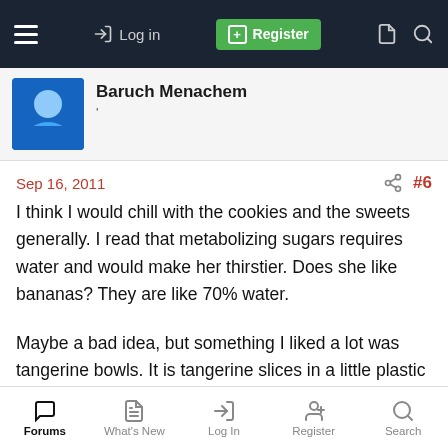Navigation bar with hamburger menu, Log in, Register, and search/document icons
Baruch Menachem
'
Sep 16, 2011  #6
I think I would chill with the cookies and the sweets generally. I read that metabolizing sugars requires water and would make her thirstier. Does she like bananas? They are like 70% water.

Maybe a bad idea, but something I liked a lot was tangerine bowls. It is tangerine slices in a little plastic bowl.
Forums  What's New  Log In  Register  Search